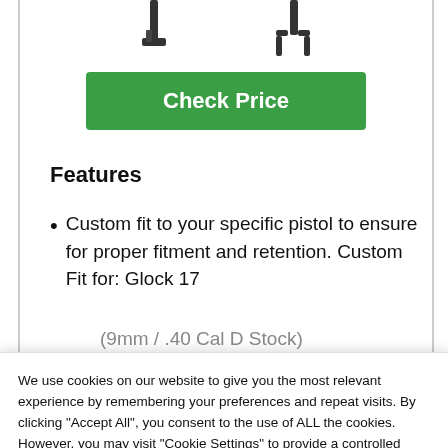[Figure (photo): Partial product images (gun holster parts) visible at top of card]
Check Price
Features
Custom fit to your specific pistol to ensure for proper fitment and retention. Custom Fit for: Glock 17 (9mm / .40 Cal D Stock)
We use cookies on our website to give you the most relevant experience by remembering your preferences and repeat visits. By clicking "Accept All", you consent to the use of ALL the cookies. However, you may visit "Cookie Settings" to provide a controlled consent.